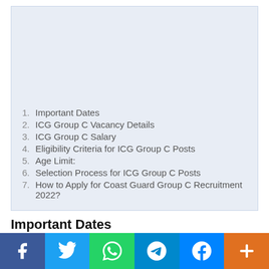1. Important Dates
2. ICG Group C Vacancy Details
3. ICG Group C Salary
4. Eligibility Criteria for ICG Group C Posts
5. Age Limit:
6. Selection Process for ICG Group C Posts
7. How to Apply for Coast Guard Group C Recruitment 2022?
Important Dates
Last Date of Application – within 30 days from